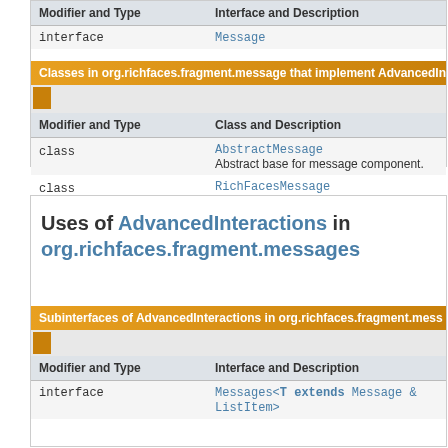| Modifier and Type | Interface and Description |
| --- | --- |
| interface | Message |
Classes in org.richfaces.fragment.message that implement AdvancedIn...
| Modifier and Type | Class and Description |
| --- | --- |
| class | AbstractMessage
Abstract base for message component. |
| class | RichFacesMessage
Component for rich:message. |
Uses of AdvancedInteractions in org.richfaces.fragment.messages
Subinterfaces of AdvancedInteractions in org.richfaces.fragment.mess...
| Modifier and Type | Interface and Description |
| --- | --- |
| interface | Messages<T extends Message & ListItem> |